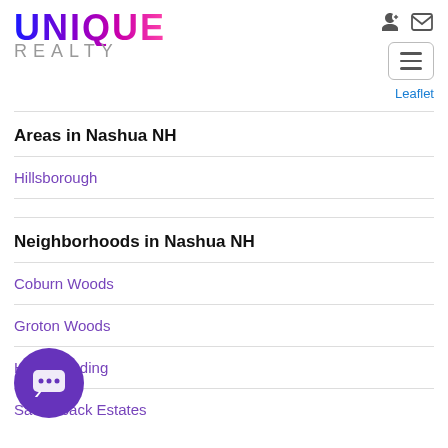[Figure (logo): Unique Realty logo with gradient purple/blue text and 'REALTY' in gray below]
Areas in Nashua NH
Hillsborough
Neighborhoods in Nashua NH
Coburn Woods
Groton Woods
Hollis Landing
Saddleback Estates